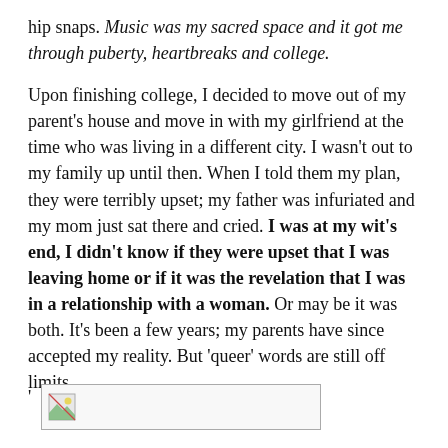hip snaps. Music was my sacred space and it got me through puberty, heartbreaks and college.
Upon finishing college, I decided to move out of my parent's house and move in with my girlfriend at the time who was living in a different city. I wasn't out to my family up until then. When I told them my plan, they were terribly upset; my father was infuriated and my mom just sat there and cried. I was at my wit's end, I didn't know if they were upset that I was leaving home or if it was the revelation that I was in a relationship with a woman. Or may be it was both. It's been a few years; my parents have since accepted my reality. But 'queer' words are still off limits.
[Figure (other): A quote mark followed by a small image placeholder with a broken/loading image icon inside a bordered rectangle.]